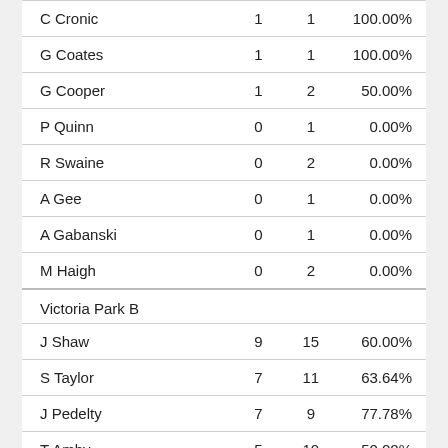| Name | Wins | Played | Percentage |
| --- | --- | --- | --- |
| C Cronic | 1 | 1 | 100.00% |
| G Coates | 1 | 1 | 100.00% |
| G Cooper | 1 | 2 | 50.00% |
| P Quinn | 0 | 1 | 0.00% |
| R Swaine | 0 | 2 | 0.00% |
| A Gee | 0 | 1 | 0.00% |
| A Gabanski | 0 | 1 | 0.00% |
| M Haigh | 0 | 2 | 0.00% |
| Victoria Park  B |  |  |  |
| J Shaw | 9 | 15 | 60.00% |
| S Taylor | 7 | 11 | 63.64% |
| J Pedelty | 7 | 9 | 77.78% |
| T Amby | 5 | 10 | 50.00% |